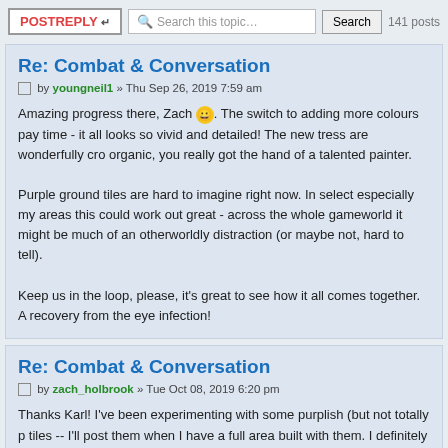POSTREPLY | Search this topic... | Search | 141 posts
Re: Combat & Conversation
by youngneil1 » Thu Sep 26, 2019 7:59 am
Amazing progress there, Zach 😀. The switch to adding more colours pays time - it all looks so vivid and detailed! The new tress are wonderfully organic, you really got the hand of a talented painter.

Purple ground tiles are hard to imagine right now. In select especially my areas this could work out great - across the whole gameworld it might be much of an otherworldly distraction (or maybe not, hard to tell).

Keep us in the loop, please, it's great to see how it all comes together. And recovery from the eye infection!
Re: Combat & Conversation
by zach_holbrook » Tue Oct 08, 2019 6:20 pm
Thanks Karl! I've been experimenting with some purplish (but not totally p tiles -- I'll post them when I have a full area built with them. I definitely ag want it to look too colorful/bizarre -- and so I fear I might have erred in the direction and made the difference between them and my normal tiles...